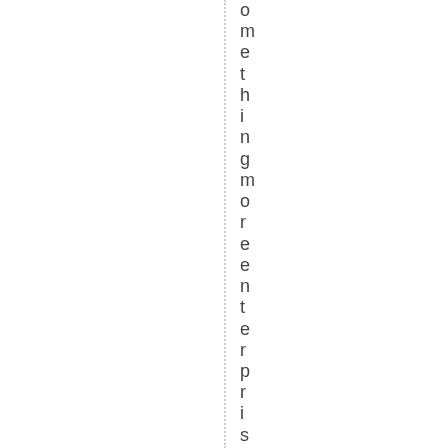omethingmoreenterprisingnexty e